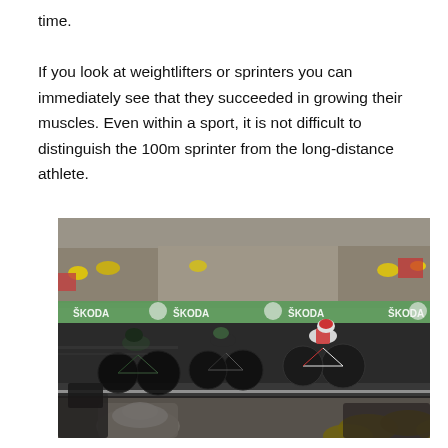time.

If you look at weightlifters or sprinters you can immediately see that they succeeded in growing their muscles. Even within a sport, it is not difficult to distinguish the 100m sprinter from the long-distance athlete.
[Figure (photo): A cycling race (appears to be Tour de France) with cyclists speeding along a road, spectators lining both sides, some wearing yellow hats, green SKODA sponsor banners visible in the background, and media/camera crew in the foreground.]